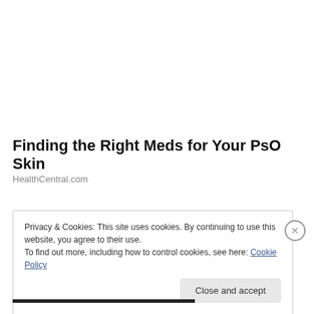Finding the Right Meds for Your PsO Skin
HealthCentral.com
Privacy & Cookies: This site uses cookies. By continuing to use this website, you agree to their use.
To find out more, including how to control cookies, see here: Cookie Policy
Close and accept